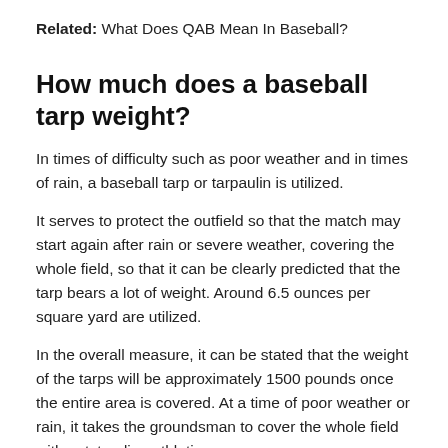Related: What Does QAB Mean In Baseball?
How much does a baseball tarp weight?
In times of difficulty such as poor weather and in times of rain, a baseball tarp or tarpaulin is utilized.
It serves to protect the outfield so that the match may start again after rain or severe weather, covering the whole field, so that it can be clearly predicted that the tarp bears a lot of weight. Around 6.5 ounces per square yard are utilized.
In the overall measure, it can be stated that the weight of the tarps will be approximately 1500 pounds once the entire area is covered. At a time of poor weather or rain, it takes the groundsman to cover the whole field with outstanding athletic